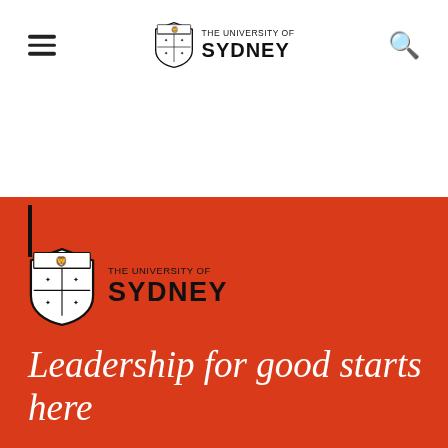THE UNIVERSITY OF SYDNEY
[Figure (logo): University of Sydney shield logo with text 'THE UNIVERSITY OF SYDNEY' in the red banner section at bottom of page]
Leadership for good starts here